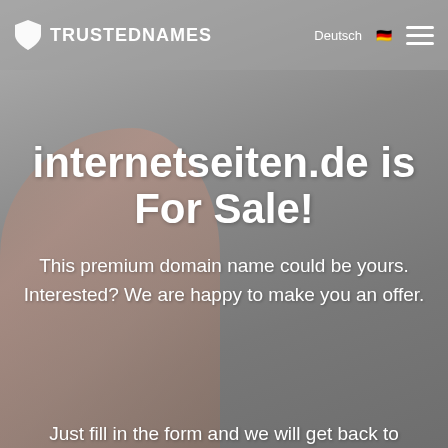[Figure (screenshot): Background photo of a woman with blonde hair on grey/neutral background, partially visible on the left side of the page.]
Deutsch 🇩🇪  ☰  TRUSTEDNAMES
internetseiten.de is For Sale!
This premium domain name could be yours. Interested? We are happy to make you an offer.
Just fill in the form and we will get back to